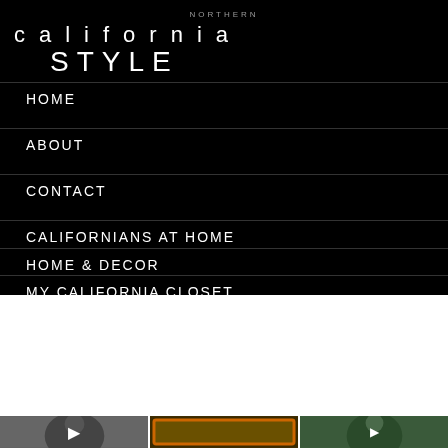NORTHERN california STYLE
HOME
ABOUT
CONTACT
CALIFORNIANS AT HOME
HOME & DECOR
MY CALIFORNIA CLOSET
the_real_iman and 15 others
Following  Message  Email  +person
[Figure (screenshot): Instagram profile tab bar with grid, reels, and tagged icons]
[Figure (photo): Three Instagram photo thumbnails: black and white photo of woman smiling, colorful text graphic with orange border, woman with braids in green setting]